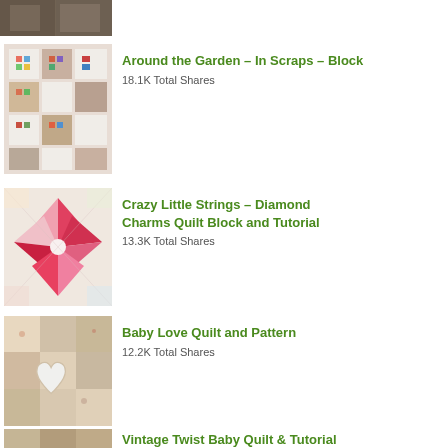[Figure (photo): Partial quilt photo at top of page, cropped]
[Figure (photo): Around the Garden quilt block with white star pattern and colorful scraps]
Around the Garden – In Scraps – Block
18.1K Total Shares
[Figure (photo): Crazy Little Strings quilt block with pink and red star/pinwheel pattern]
Crazy Little Strings – Diamond Charms Quilt Block and Tutorial
13.3K Total Shares
[Figure (photo): Baby Love Quilt with heart applique on patchwork background]
Baby Love Quilt and Pattern
12.2K Total Shares
[Figure (photo): Vintage Twist Baby Quilt thumbnail, partially visible]
Vintage Twist Baby Quilt & Tutorial